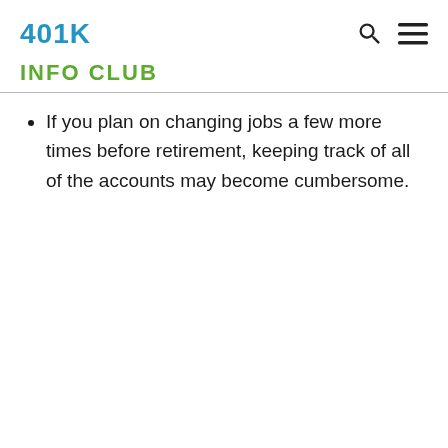401K
INFO CLUB
If you plan on changing jobs a few more times before retirement, keeping track of all of the accounts may become cumbersome.